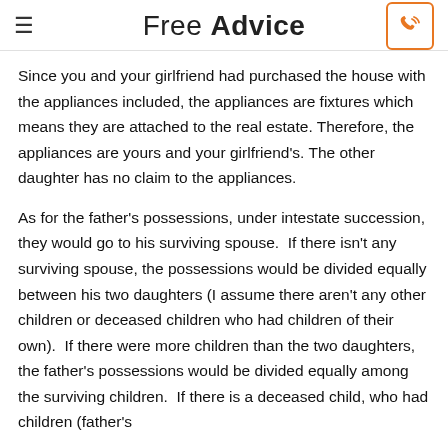Free Advice
Since you and your girlfriend had purchased the house with the appliances included, the appliances are fixtures which means they are attached to the real estate. Therefore, the appliances are yours and your girlfriend's. The other daughter has no claim to the appliances.
As for the father's possessions, under intestate succession, they would go to his surviving spouse.  If there isn't any surviving spouse, the possessions would be divided equally between his two daughters (I assume there aren't any other children or deceased children who had children of their own).  If there were more children than the two daughters, the father's possessions would be divided equally among the surviving children.  If there is a deceased child, who had children (father's